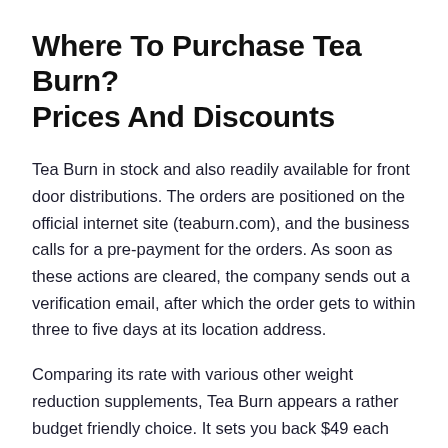Where To Purchase Tea Burn? Prices And Discounts
Tea Burn in stock and also readily available for front door distributions. The orders are positioned on the official internet site (teaburn.com), and the business calls for a pre-payment for the orders. As soon as these actions are cleared, the company sends out a verification email, after which the order gets to within three to five days at its location address.
Comparing its rate with various other weight reduction supplements, Tea Burn appears a rather budget friendly choice. It sets you back $49 each